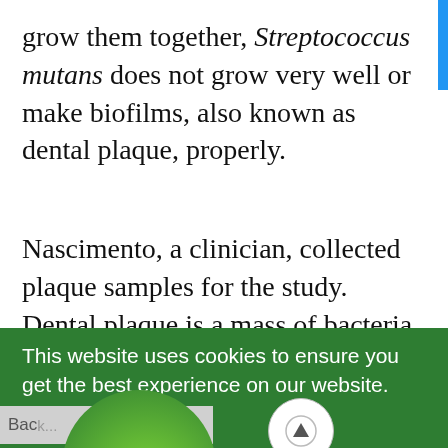grow them together, Streptococcus mutans does not grow very well or make biofilms, also known as dental plaque, properly.
Nascimento, a clinician, collected plaque samples for the study. Dental plaque is a mass of bacteria that grows on the surface of teeth and can contribute to the formation of cavities.
[Figure (screenshot): Cookie consent overlay in green with text 'This website uses cookies to ensure you get the best experience on our website.' and a black 'Got it!' button. A green promotional circle reads 'GET 10% OFF 🎁'. A scroll-to-top arrow button is also visible.]